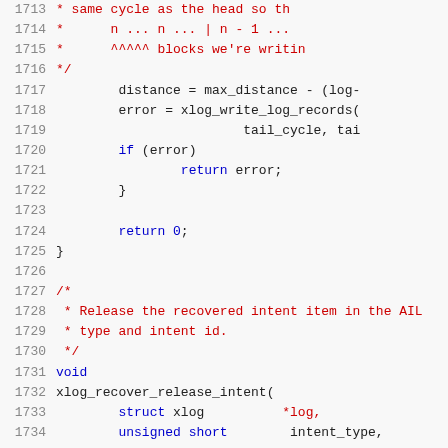[Figure (screenshot): Source code listing showing C code lines 1713-1734, with line numbers on the left and syntax-highlighted code on the right. Comments in red, keywords in blue, regular code in dark/black monospace font.]